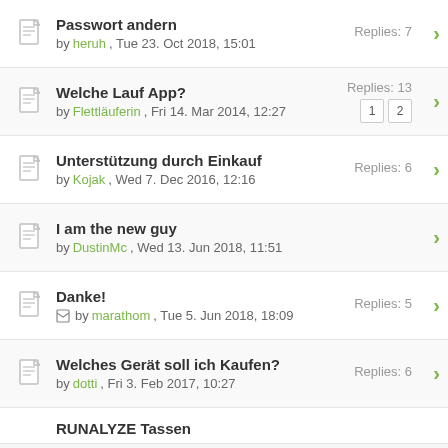Passwort andern — by heruh, Tue 23. Oct 2018, 15:01 — Replies: 7
Welche Lauf App? — by Flettläuferin, Fri 14. Mar 2014, 12:27 — Replies: 13, pages: 1 2
Unterstützung durch Einkauf — by Kojak, Wed 7. Dec 2016, 12:16 — Replies: 6
I am the new guy — by DustinMc, Wed 13. Jun 2018, 11:51
Danke! — by marathom, Tue 5. Jun 2018, 18:09 — Replies: 5
Welches Gerät soll ich Kaufen? — by dotti, Fri 3. Feb 2017, 10:27 — Replies: 6
RUNALYZE Tassen